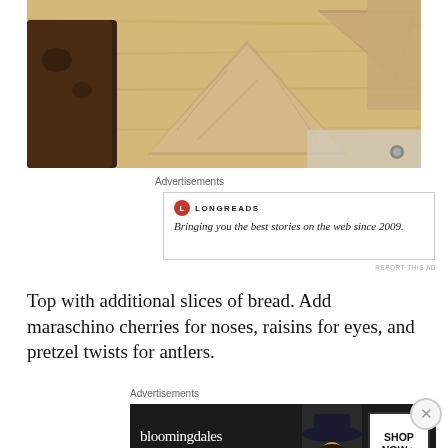[Figure (photo): Overhead view of triangular sandwich bread slices on a wooden cutting board, with a product container visible at top]
Advertisements
[Figure (other): Longreads advertisement: logo with red circle L, text 'LONGREADS', tagline 'Bringing you the best stories on the web since 2009.']
REPORT THIS AD
Top with additional slices of bread. Add maraschino cherries for noses, raisins for eyes, and pretzel twists for antlers.
Advertisements
[Figure (other): Bloomingdale's advertisement: dark background with logo text 'bloomingdales', subtext 'View Today's Top Deals!', image of woman with hat, 'SHOP NOW >' button box]